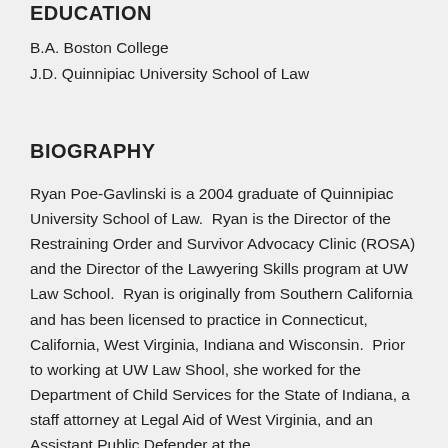EDUCATION
B.A. Boston College
J.D. Quinnipiac University School of Law
BIOGRAPHY
Ryan Poe-Gavlinski is a 2004 graduate of Quinnipiac University School of Law.  Ryan is the Director of the Restraining Order and Survivor Advocacy Clinic (ROSA) and the Director of the Lawyering Skills program at UW Law School.  Ryan is originally from Southern California and has been licensed to practice in Connecticut, California, West Virginia, Indiana and Wisconsin.  Prior to working at UW Law Shool, she worked for the Department of Child Services for the State of Indiana, a staff attorney at Legal Aid of West Virginia, and an Assistant Public Defender at the